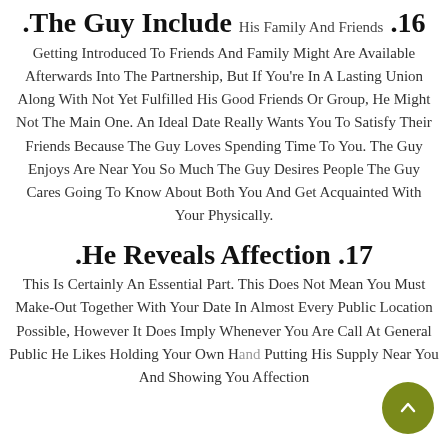.The Guy Include His Family And Friends .16
Getting Introduced To Friends And Family Might Are Available Afterwards Into The Partnership, But If You're In A Lasting Union Along With Not Yet Fulfilled His Good Friends Or Group, He Might Not The Main One. An Ideal Date Really Wants You To Satisfy Their Friends Because The Guy Loves Spending Time To You. The Guy Enjoys Are Near You So Much The Guy Desires People The Guy Cares Going To Know About Both You And Get Acquainted With Your Physically.
.He Reveals Affection .17
This Is Certainly An Essential Part. This Does Not Mean You Must Make-Out Together With Your Date In Almost Every Public Location Possible, However It Does Imply Whenever You Are Call At General Public He Likes Holding Your Own Hand, Putting His Supply Near You And Showing You Affection.